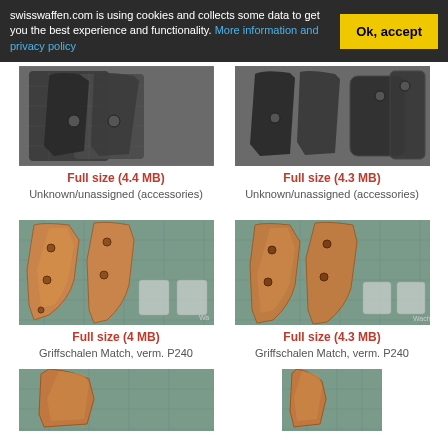swisswaffen.com is using cookies and collects some data to get you the best experience and functionality. More information and privacy policy
[Figure (photo): Two dark gun grip panels on grid mat - left image]
Full size (4.4 MB)
Unknown/unassigned (accessories)
[Figure (photo): Dark gun grip panels on grid mat - right image]
Full size (4.3 MB)
Unknown/unassigned (accessories)
[Figure (photo): Wooden match grip panels on grid mat - left]
Full size (4 MB)
Griffschalen Match, verm. P240
[Figure (photo): Wooden match grip panels on grid mat - right]
Full size (4.3 MB)
Griffschalen Match, verm. P240
[Figure (photo): Wooden grip panel bottom partial view - left]
[Figure (photo): Wooden grip panel bottom partial view - right]